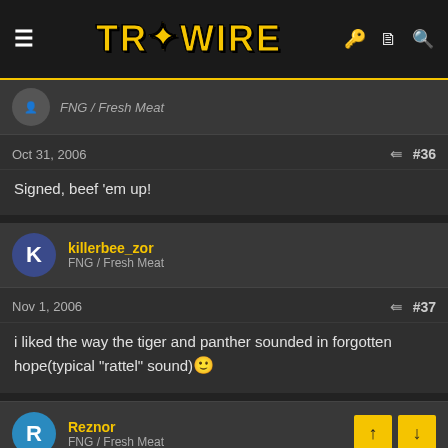Tripwire Interactive Forums - Header
FNG / Fresh Meat
Oct 31, 2006  #36
Signed, beef 'em up!
killerbee_zor
FNG / Fresh Meat
Nov 1, 2006  #37
i liked the way the tiger and panther sounded in forgotten hope(typical "rattel" sound)🙂
Reznor
FNG / Fresh Meat